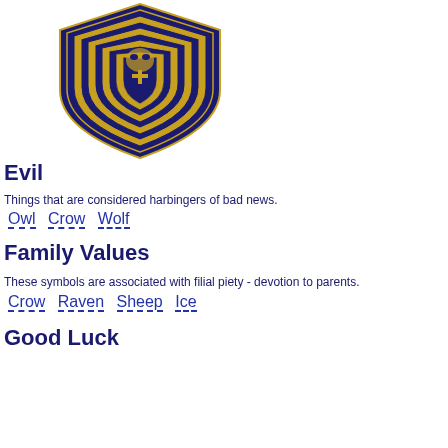[Figure (illustration): A decorative shield/crest illustration with dark navy blue and gold concentric layers, featuring a face/mask motif and a cross symbol at center, tapering to a point at bottom.]
Evil
Things that are considered harbingers of bad news.
Owl  Crow  Wolf
Family Values
These symbols are associated with filial piety - devotion to parents.
Crow  Raven  Sheep  Ice
Good Luck